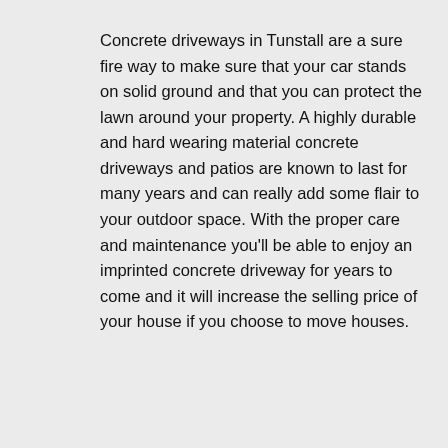Concrete driveways in Tunstall are a sure fire way to make sure that your car stands on solid ground and that you can protect the lawn around your property. A highly durable and hard wearing material concrete driveways and patios are known to last for many years and can really add some flair to your outdoor space. With the proper care and maintenance you'll be able to enjoy an imprinted concrete driveway for years to come and it will increase the selling price of your house if you choose to move houses.